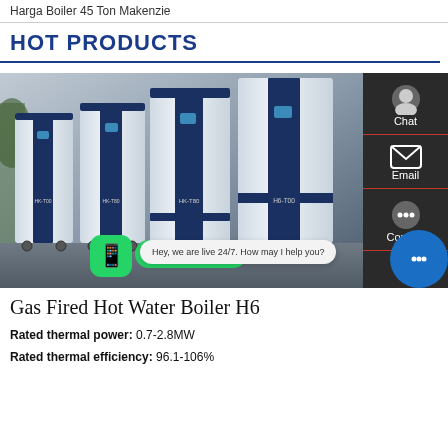Harga Boiler 45 Ton Makenzie
HOT PRODUCTS
[Figure (photo): Photo of multiple Gas Fired Hot Water Boiler H6 units (navy blue and white) with chat/email/contact sidebar overlay and WhatsApp contact button]
Gas Fired Hot Water Boiler H6
Rated thermal power: 0.7-2.8MW
Rated thermal efficiency: 96.1-106%